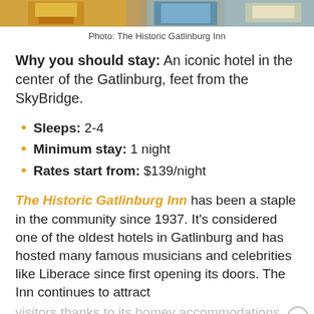[Figure (photo): Top strip of hotel photo showing outdoor area with orange/golden colors and blue water/pool elements]
Photo: The Historic Gatlinburg Inn
Why you should stay: An iconic hotel in the center of the Gatlinburg, feet from the SkyBridge.
Sleeps: 2-4
Minimum stay: 1 night
Rates start from: $139/night
The Historic Gatlinburg Inn has been a staple in the community since 1937. It's considered one of the oldest hotels in Gatlinburg and has hosted many famous musicians and celebrities like Liberace since first opening its doors. The Inn continues to attract
visitors thanks to its homey accommodations and prime location in the heart of the action.